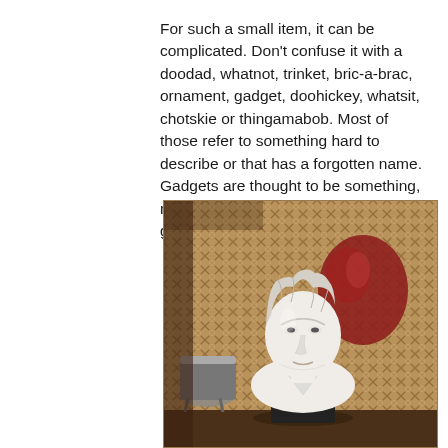For such a small item, it can be complicated. Don't confuse it with a doodad, whatnot, trinket, bric-a-brac, ornament, gadget, doohickey, whatsit, chotskie or thingamabob. Most of those refer to something hard to describe or that has a forgotten name. Gadgets are thought to be something, maybe stored in a drawer, and the gadget usually has some practical use.
[Figure (photo): A white porcelain or plaster bust of a person (possibly a classical composer or historical figure), placed on a dark base, with a wicker/lattice background and a red decorative object and metallic items visible behind it.]